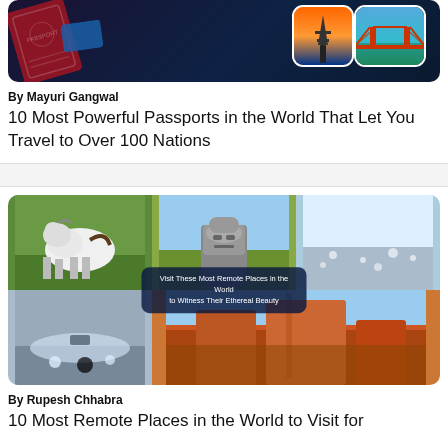[Figure (photo): Travel collage: passport with world map background and thumbnail photos of Eiffel Tower at sunset and Golden Gate Bridge]
By Mayuri Gangwal
10 Most Powerful Passports in the World That Let You Travel to Over 100 Nations
[Figure (photo): Grid of 5 photos showing remote places: pony in field, Easter Island moai statues, icy arctic landscape, snowy coastal scene, red rock canyon. Overlay text: 'Visit These Most Remote Places in the World to Witness Their Ethereal Beauty']
By Rupesh Chhabra
10 Most Remote Places in the World to Visit for